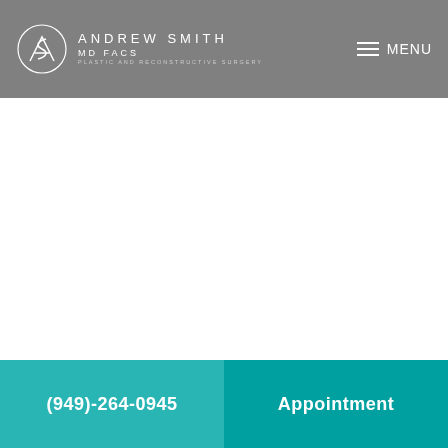Andrew Smith MD FACS – Plastic and Reconstructive Surgery – MENU
(949)-264-0945  Appointment